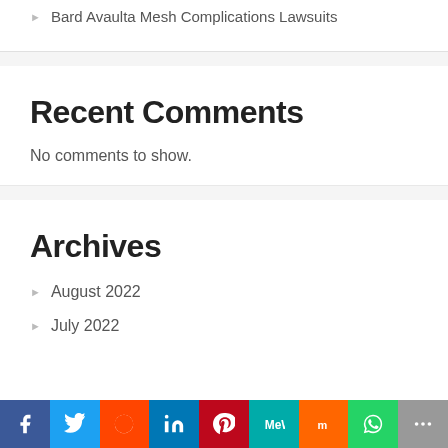Bard Avaulta Mesh Complications Lawsuits
Recent Comments
No comments to show.
Archives
August 2022
July 2022
Facebook Twitter Reddit LinkedIn Pinterest MeWe Mix WhatsApp More